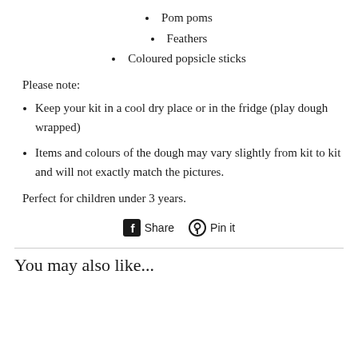Pom poms
Feathers
Coloured popsicle sticks
Please note:
Keep your kit in a cool dry place or in the fridge (play dough wrapped)
Items and colours of the dough may vary slightly from kit to kit and will not exactly match the pictures.
Perfect for children under 3 years.
[Figure (other): Social sharing buttons: Facebook Share and Pinterest Pin it]
You may also like...